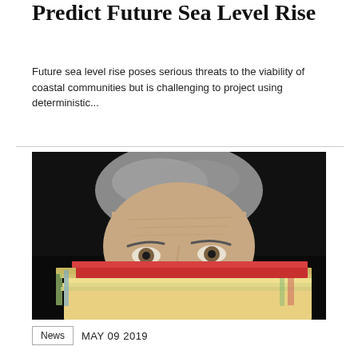Predict Future Sea Level Rise
Future sea level rise poses serious threats to the viability of coastal communities but is challenging to project using deterministic...
[Figure (photo): Close-up photograph of a man with gray hair peeking over a large stack of papers and folders with a red folder on top, against a black background.]
News   MAY 09 2019